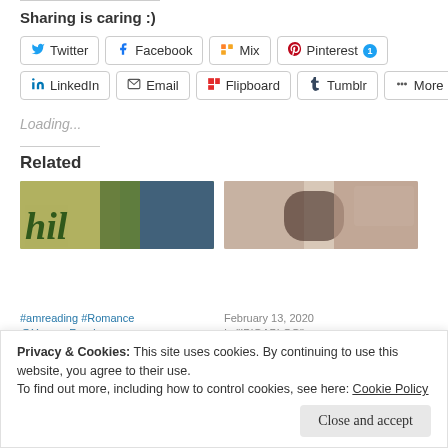Sharing is caring :)
Twitter
Facebook
Mix
Pinterest 1
LinkedIn
Email
Flipboard
Tumblr
More
Loading...
Related
[Figure (photo): Two related article thumbnail images side by side]
Privacy & Cookies: This site uses cookies. By continuing to use this website, you agree to their use.
To find out more, including how to control cookies, see here: Cookie Policy
Close and accept